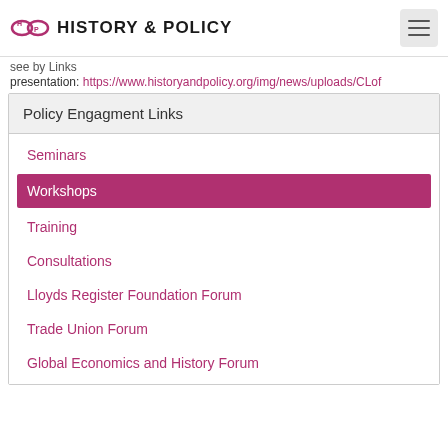HISTORY & POLICY
presentation: https://www.historyandpolicy.org/img/news/uploads/CLof
Policy Engagment Links
Seminars
Workshops
Training
Consultations
Lloyds Register Foundation Forum
Trade Union Forum
Global Economics and History Forum